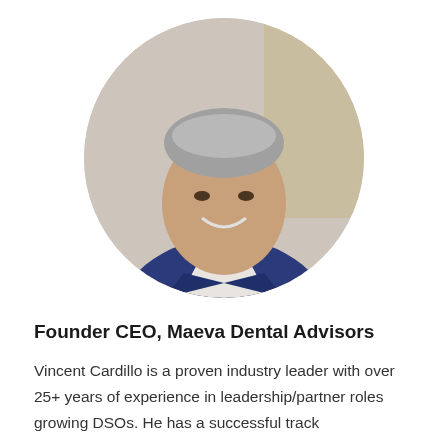[Figure (photo): Circular headshot photo of a middle-aged man with grey hair, wearing a navy blue blazer and white shirt, smiling, with a blurred outdoor background.]
Founder CEO, Maeva Dental Advisors
Vincent Cardillo is a proven industry leader with over 25+ years of experience in leadership/partner roles growing DSOs. He has a successful track